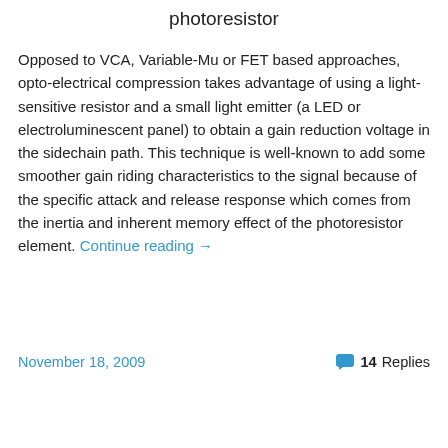photoresistor
Opposed to VCA, Variable-Mu or FET based approaches, opto-electrical compression takes advantage of using a light-sensitive resistor and a small light emitter (a LED or electroluminescent panel) to obtain a gain reduction voltage in the sidechain path. This technique is well-known to add some smoother gain riding characteristics to the signal because of the specific attack and release response which comes from the inertia and inherent memory effect of the photoresistor element. Continue reading →
November 18, 2009   14 Replies